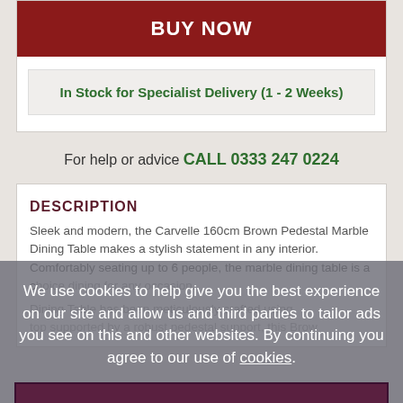BUY NOW
In Stock for Specialist Delivery (1 - 2 Weeks)
For help or advice CALL 0333 247 0224
DESCRIPTION
Sleek and modern, the Carvelle 160cm Brown Pedestal Marble Dining Table makes a stylish statement in any interior. Comfortably seating up to 6 people, the marble dining table is a choice dining for any occasion.
Dining Table has been meticulously crafted using
top supported by a robust pedestal support, this Brow
We use cookies to help give you the best experience on our site and allow us and third parties to tailor ads you see on this and other websites. By continuing you agree to our use of cookies.
ACCEPT COOKIES
CUSTOM SETTINGS